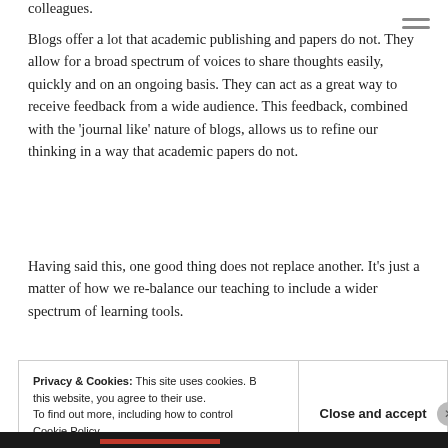colleagues.
Blogs offer a lot that academic publishing and papers do not. They allow for a broad spectrum of voices to share thoughts easily, quickly and on an ongoing basis. They can act as a great way to receive feedback from a wide audience. This feedback, combined with the ‘journal like’ nature of blogs, allows us to refine our thinking in a way that academic papers do not.
Having said this, one good thing does not replace another. It’s just a matter of how we re-balance our teaching to include a wider spectrum of learning tools.
Privacy & Cookies: This site uses cookies. By continuing to use this website, you agree to their use.
To find out more, including how to control cookies, see here:
Cookie Policy
Close and accept